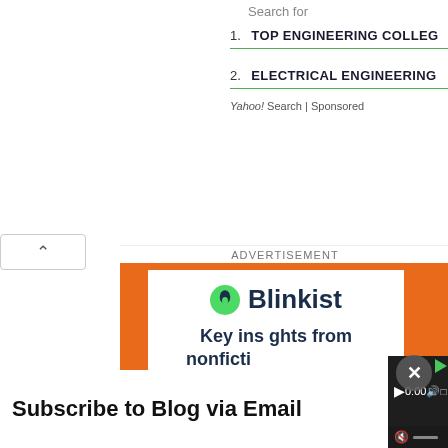Search for
1. TOP ENGINEERING COLLEG…
2. ELECTRICAL ENGINEERING…
Yahoo! Search | Sponsored
[Figure (screenshot): Blinkist advertisement banner with orange background, white card showing Blinkist logo and tagline 'Key insights from nonfiction in 15 mins' with a green Start button, overlaid with a video player widget showing 0:00 timestamp and muted audio controls, and a close X button circle]
Subscribe to Blog via Email